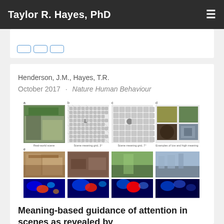Taylor R. Hayes, PhD
Henderson, J.M., Hayes, T.R.
October 2017 · Nature Human Behaviour
[Figure (photo): Research figure showing: (a) real-world scene (kitchen), (b) scene meaning grid at 3°, (c) scene meaning grid at 7°, (d) examples of low and high meaning patches. Second row shows four real-world scene photos (kitchen, messy room, garden, marina). Third row shows corresponding heat maps of eye fixation data over the same four scenes.]
Meaning-based guidance of attention in scenes as revealed by